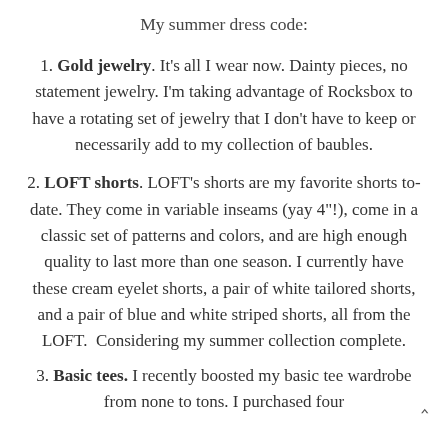My summer dress code:
1. Gold jewelry. It's all I wear now. Dainty pieces, no statement jewelry. I'm taking advantage of Rocksbox to have a rotating set of jewelry that I don't have to keep or necessarily add to my collection of baubles.
2. LOFT shorts. LOFT's shorts are my favorite shorts to-date. They come in variable inseams (yay 4"!), come in a classic set of patterns and colors, and are high enough quality to last more than one season. I currently have these cream eyelet shorts, a pair of white tailored shorts, and a pair of blue and white striped shorts, all from the LOFT.  Considering my summer collection complete.
3. Basic tees. I recently boosted my basic tee wardrobe from none to tons. I purchased four